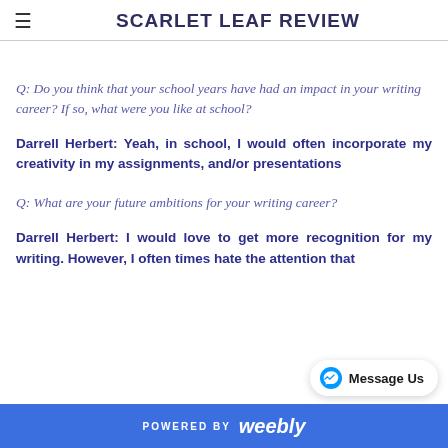SCARLET LEAF REVIEW
Q: Do you think that your school years have had an impact in your writing career? If so, what were you like at school?
Darrell Herbert: Yeah, in school, I would often incorporate my creativity in my assignments, and/or presentations
Q: What are your future ambitions for your writing career?
Darrell Herbert: I would love to get more recognition for my writing. However, I often times hate the attention that
POWERED BY weebly